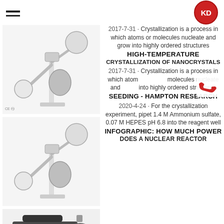KD (logo) with hamburger menu
[Figure (photo): Rotary evaporator laboratory equipment, first unit]
2017-7-31 · Crystallization is a process in which atoms or molecules nucleate and grow into highly ordered structures
HIGH-TEMPERATURE
CRYSTALLIZATION OF NANOCRYSTALS
[Figure (photo): Rotary evaporator laboratory equipment, second unit]
2017-7-31 · Crystallization is a process in which atoms or molecules nucleate and grow into highly ordered structures
SEEDING - HAMPTON RESEARCH
[Figure (photo): Vacuum pump industrial equipment]
2020-4-24 · For the crystallization experiment, pipet 1.4 M Ammonium sulfate, 0.07 M HEPES pH 6.8 into the reagent well
INFOGRAPHIC: HOW MUCH POWER
DOES A NUCLEAR REACTOR
[Figure (photo): Laboratory glassware apparatus at bottom of page]